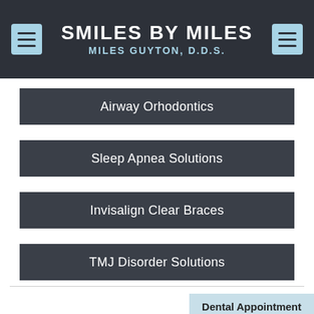SMILES BY MILES
MILES GUYTON, D.D.S.
Airway Orhodontics
Sleep Apnea Solutions
Invisalign Clear Braces
TMJ Disorder Solutions
Dental Appointment
PATI ALS
Virtual Consultation